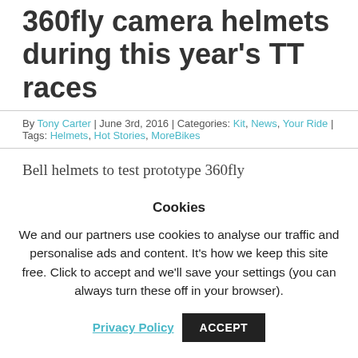360fly camera helmets during this year's TT races
By Tony Carter | June 3rd, 2016 | Categories: Kit, News, Your Ride | Tags: Helmets, Hot Stories, MoreBikes
Bell helmets to test prototype 360fly
Cookies
We and our partners use cookies to analyse our traffic and personalise ads and content. It's how we keep this site free. Click to accept and we'll save your settings (you can always turn these off in your browser).
Privacy Policy | ACCEPT